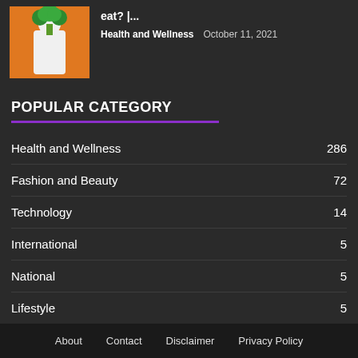[Figure (photo): Person in white shirt holding broccoli in front of their face against an orange background]
eat? |...
Health and Wellness   October 11, 2021
POPULAR CATEGORY
Health and Wellness   286
Fashion and Beauty   72
Technology   14
International   5
National   5
Lifestyle   5
Entertainment   5
About   Contact   Disclaimer   Privacy Policy